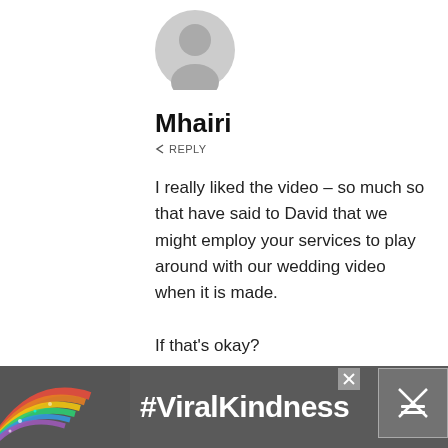[Figure (illustration): Generic grey user avatar icon — circle head above rounded shoulders silhouette]
Mhairi
↩  REPLY
I really liked the video – so much so that have said to David that we might employ your services to play around with our wedding video when it is made.

If that's okay?

x

.-= Mhairi´s last blog ..And then the
[Figure (infographic): Advertisement banner with rainbow illustration on dark grey background and white bold text '#ViralKindness']